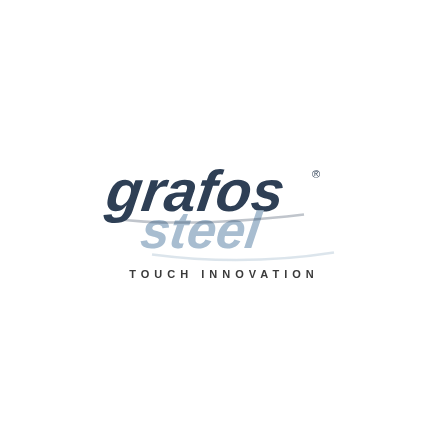[Figure (logo): Grafos Steel logo with stylized italic script text 'grafos' in dark navy blue and 'steel' in light steel blue, with registered trademark symbol, and tagline 'TOUCH INNOVATION' in spaced capital letters below]